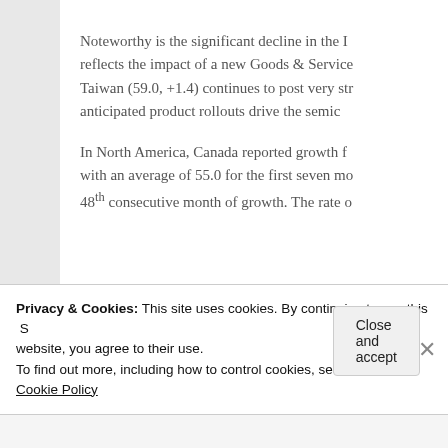Noteworthy is the significant decline in the I... reflects the impact of a new Goods & Service... Taiwan (59.0, +1.4) continues to post very str... anticipated product rollouts drive the semic...
In North America, Canada reported growth f... with an average of 55.0 for the first seven mo... 48th consecutive month of growth. The rate o...
Privacy & Cookies: This site uses cookies. By continuing to use this website, you agree to their use. To find out more, including how to control cookies, see here: Cookie Policy
Close and accept